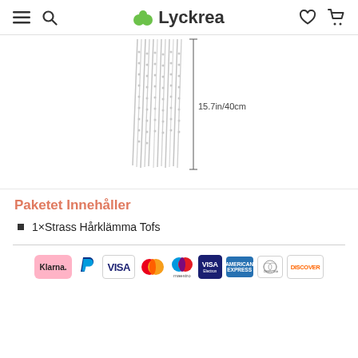Lyckrea — navigation header with menu, search, logo, wishlist, cart
[Figure (photo): Product image showing silver rhinestone tassel hair clip strands measuring 15.7in/40cm in length, shown hanging vertically with a measurement line annotation]
Paketet Innehåller
1×Strass Hårklämma Tofs
[Figure (infographic): Payment method icons row: Klarna, PayPal, VISA, Mastercard, Maestro, VISA Electron, American Express, Diners Club, Discover]